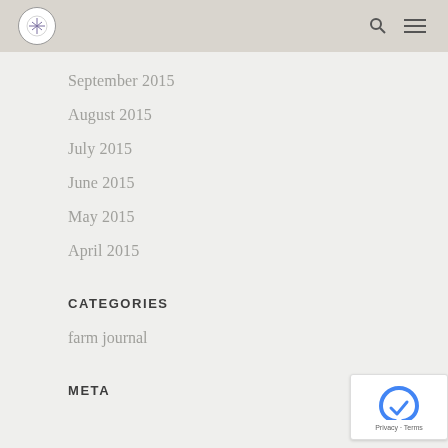September 2015
August 2015
July 2015
June 2015
May 2015
April 2015
CATEGORIES
farm journal
META